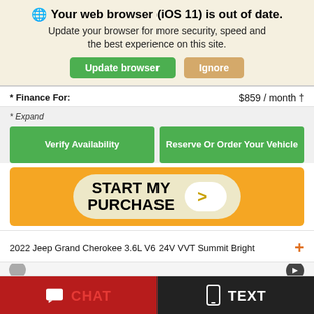🌐 Your web browser (iOS 11) is out of date. Update your browser for more security, speed and the best experience on this site.
Update browser | Ignore
* Finance For: $859 / month †
* Expand
Verify Availability
Reserve Or Order Your Vehicle
[Figure (screenshot): START MY PURCHASE button with arrow on orange background]
2022 Jeep Grand Cherokee 3.6L V6 24V VVT Summit Bright +
CHAT
TEXT
Contact | Filter | ☺ Lifetime Warranty